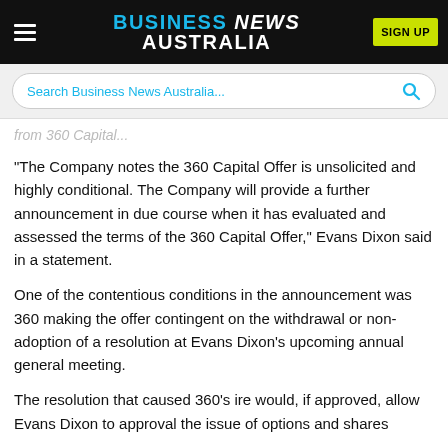BUSINESS NEWS AUSTRALIA
from 360 Capital...
"The Company notes the 360 Capital Offer is unsolicited and highly conditional. The Company will provide a further announcement in due course when it has evaluated and assessed the terms of the 360 Capital Offer," Evans Dixon said in a statement.
One of the contentious conditions in the announcement was 360 making the offer contingent on the withdrawal or non-adoption of a resolution at Evans Dixon's upcoming annual general meeting.
The resolution that caused 360's ire would, if approved, allow Evans Dixon to approval the issue of options and shares